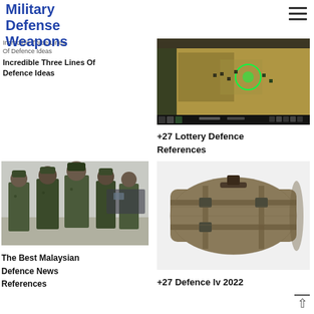Military Defense Weapons
[Figure (screenshot): Strategy game screenshot showing top-down view of military units on a map with green indicators]
Incredible Three Lines Of Defence Ideas
+27 Lottery Defence References
[Figure (photo): Malaysian military soldiers in camouflage uniforms walking in formation outdoors]
The Best Malaysian Defence News References
[Figure (photo): Olive/tan colored military sleeping bag or stuff sack with straps and buckles]
+27 Defence lv 2022